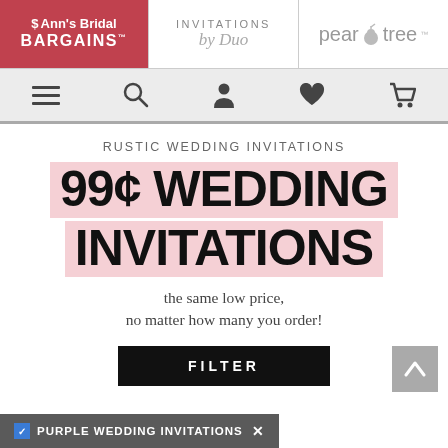Ann's Bridal BARGAINS | INVITATIONS by Duo | pear tree
[Figure (screenshot): Navigation bar with hamburger menu, search, user, heart, and cart icons]
RUSTIC WEDDING INVITATIONS
99¢ WEDDING INVITATIONS
the same low price, no matter how many you order!
FILTER
PURPLE WEDDING INVITATIONS ×